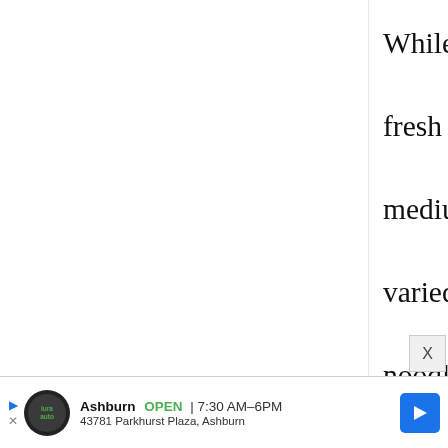While this store doesn't have any fresh vegetables available, it is medium sized and has a large, varied selection of nori, sauces, noodles, cooking ingredients, pickled vegetables and a wide variety of frozen vegetables, meat, sweets etc. as well as a refrigerated section with many types of
[Figure (other): Advertisement banner for a local business (Lura Auto in Ashburn) showing logo, open status, hours 7:30AM-6PM, address 43781 Parkhurst Plaza, Ashburn, and navigation arrow icon]